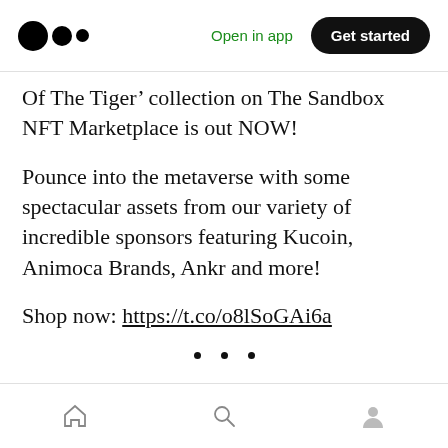Medium logo | Open in app | Get started
Of The Tiger’ collection on The Sandbox NFT Marketplace is out NOW!
Pounce into the metaverse with some spectacular assets from our variety of incredible sponsors featuring Kucoin, Animoca Brands, Ankr and more!
Shop now: https://t.co/o8lSoGAi6a
• • •
The Sandbox Hosts Metaprints for an AMA
Home | Search | Profile